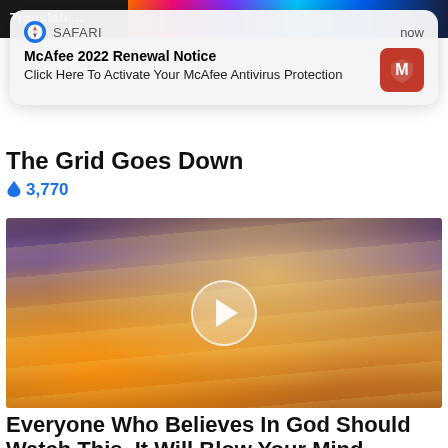[Figure (screenshot): Top strip with dark background and colorful abstract gradient image, with 'Translate...' text overlay]
[Figure (screenshot): Safari browser push notification popup: 'McAfee 2022 Renewal Notice / Click Here To Activate Your McAfee Antivirus Protection' with McAfee red shield icon and 'now' timestamp]
The Grid Goes Down
🔥 3,770
[Figure (photo): Video thumbnail showing dramatic sky with sunbeams through clouds, golden and purple tones, with a white play button circle overlay]
Everyone Who Believes In God Should Watch This. It Will Blow Your Mind